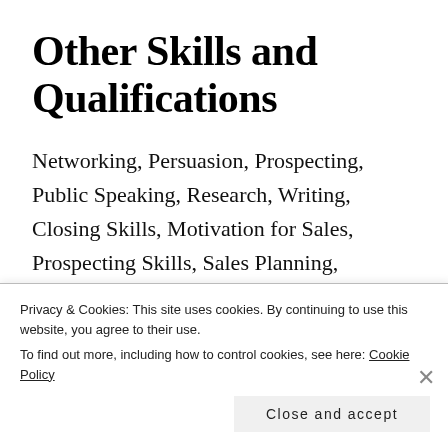Other Skills and Qualifications
Networking, Persuasion, Prospecting, Public Speaking, Research, Writing, Closing Skills, Motivation for Sales, Prospecting Skills, Sales Planning, Identification of Customer Needs and Challenges, Territory Management, Market Knowledge, Professionalism, and Microsoft Office/Microsoft Teams...
Privacy & Cookies: This site uses cookies. By continuing to use this website, you agree to their use.
To find out more, including how to control cookies, see here: Cookie Policy
Close and accept